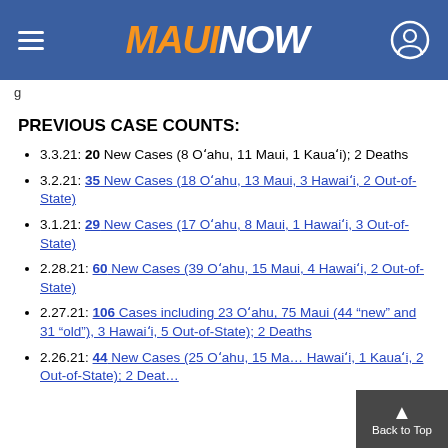MAUI NOW
g
PREVIOUS CASE COUNTS:
3.3.21: 20 New Cases (8 Oʻahu, 11 Maui, 1 Kauaʻi); 2 Deaths
3.2.21: 35 New Cases (18 Oʻahu, 13 Maui, 3 Hawaiʻi, 2 Out-of-State)
3.1.21: 29 New Cases (17 Oʻahu, 8 Maui, 1 Hawaiʻi, 3 Out-of-State)
2.28.21: 60 New Cases (39 Oʻahu, 15 Maui, 4 Hawaiʻi, 2 Out-of-State)
2.27.21: 106 Cases including 23 Oʻahu, 75 Maui (44 “new” and 31 “old”), 3 Hawaiʻi, 5 Out-of-State); 2 Deaths
2.26.21: 44 New Cases (25 Oʻahu, 15 Maui, Hawaiʻi, 1 Kauaʻi, 2 Out-of-State); 2 Deaths